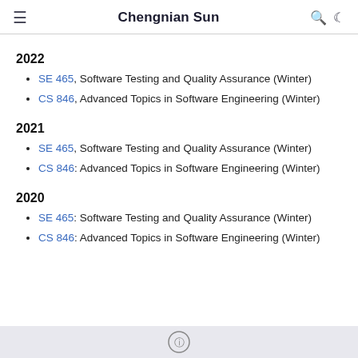Chengnian Sun
2022
SE 465, Software Testing and Quality Assurance (Winter)
CS 846, Advanced Topics in Software Engineering (Winter)
2021
SE 465, Software Testing and Quality Assurance (Winter)
CS 846: Advanced Topics in Software Engineering (Winter)
2020
SE 465: Software Testing and Quality Assurance (Winter)
CS 846: Advanced Topics in Software Engineering (Winter)